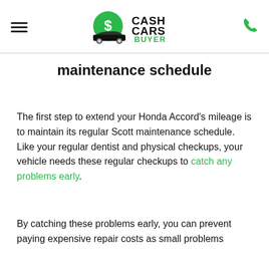Cash Cars Buyer
maintenance schedule
The first step to extend your Honda Accord's mileage is to maintain its regular Scott maintenance schedule. Like your regular dentist and physical checkups, your vehicle needs these regular checkups to catch any problems early.
By catching these problems early, you can prevent paying expensive repair costs as small problems